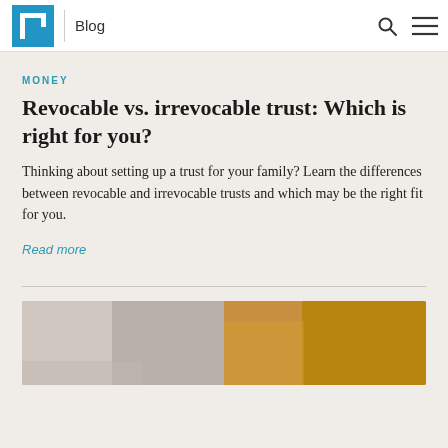LH Blog
MONEY
Revocable vs. irrevocable trust: Which is right for you?
Thinking about setting up a trust for your family? Learn the differences between revocable and irrevocable trusts and which may be the right fit for you.
Read more
[Figure (photo): Photo of two people, partially visible, one wearing grey striped clothing and one wearing yellow/mustard top]